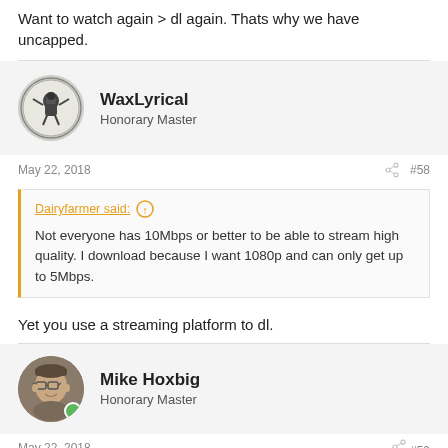Want to watch again > dl again. Thats why we have uncapped.
WaxLyrical
Honorary Master
May 22, 2018  #58
Dairyfarmer said: ↑
Not everyone has 10Mbps or better to be able to stream high quality. I download because I want 1080p and can only get up to 5Mbps.
Yet you use a streaming platform to dl.
Mike Hoxbig
Honorary Master
May 22, 2018  #59